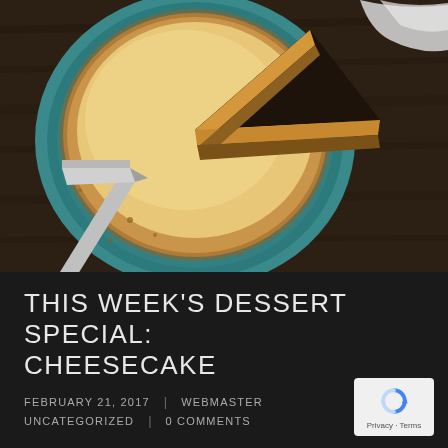[Figure (photo): Overhead view of a cheesecake on a teal/turquoise plate with a slice removed, a cake server on the left, and a white plate on the right with a slice of cheesecake topped with blueberry sauce and whipped cream, accompanied by a fork. Dark wood table background.]
THIS WEEK'S DESSERT SPECIAL: CHEESECAKE
FEBRUARY 21, 2017 | WEBMASTER
UNCATEGORIZED | 0 COMMENTS
[Figure (logo): Google reCAPTCHA badge with circular arrow logo and 'Privacy · Terms' text]